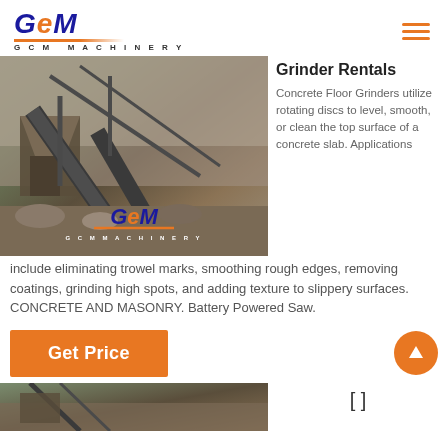GCM MACHINERY
[Figure (photo): Industrial mining/crushing machinery with conveyor belts and hopper structures, with GCM Machinery logo overlay at bottom]
Grinder Rentals
Concrete Floor Grinders utilize rotating discs to level, smooth, or clean the top surface of a concrete slab. Applications include eliminating trowel marks, smoothing rough edges, removing coatings, grinding high spots, and adding texture to slippery surfaces. CONCRETE AND MASONRY. Battery Powered Saw.
Get Price